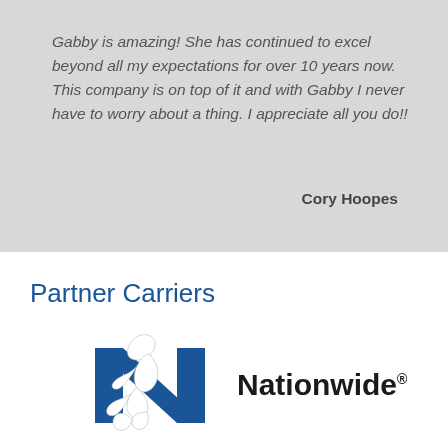Gabby is amazing! She has continued to excel beyond all my expectations for over 10 years now. This company is on top of it and with Gabby I never have to worry about a thing. I appreciate all you do!!
Cory Hoopes
Partner Carriers
[Figure (logo): Nationwide logo: blue N with eagle/dove and the word Nationwide with registered trademark symbol]